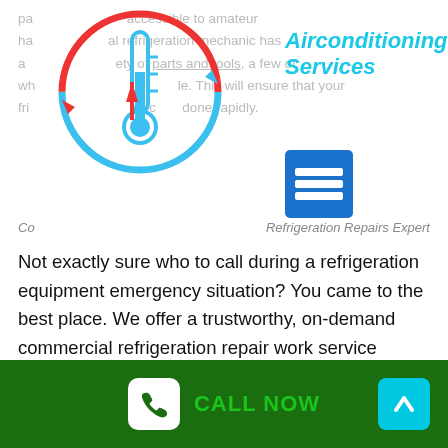[Figure (logo): Air conditioning / refrigeration circular logo with thermometer, red and blue arrows forming a cycle]
Airconditioning Services
[Figure (other): Hamburger menu icon — three horizontal white lines on blue square background]
Contact — Refrigeration Repairs Expert
Not exactly sure who to call during a refrigeration equipment emergency situation? You came to the best place. We offer a trustworthy, on-demand commercial refrigeration repair work service ensured to deal with your equipment issues when you require it. We'll link you to a trusted professional for different types of commercial equipment repairs including dishwasher repair work, commercial cooler repairs, and catering equipment repair work in Melbourne. All our
CALL NOW